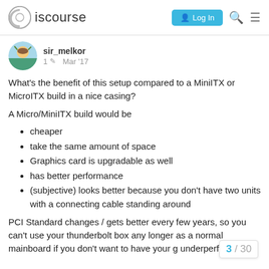Discourse — Log In
sir_melkor  1  Mar '17
What's the benefit of this setup compared to a MiniITX or MicroITX build in a nice casing?
A Micro/MiniITX build would be
cheaper
take the same amount of space
Graphics card is upgradable as well
has better performance
(subjective) looks better because you don't have two units with a connecting cable standing around
PCI Standard changes / gets better every few years, so you can't use your thunderbolt box any longer as a normal mainboard if you don't want to have your g underperform 😕
3 / 30